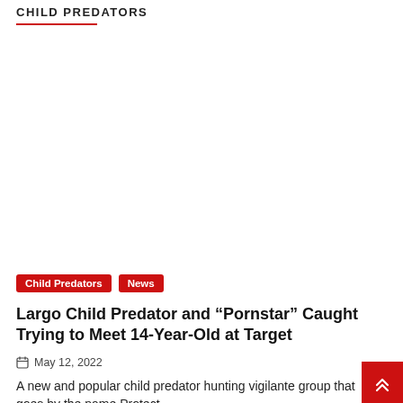CHILD PREDATORS
[Figure (photo): Large image placeholder area (white/blank) for article thumbnail]
Child Predators | News
Largo Child Predator and “Pornstar” Caught Trying to Meet 14-Year-Old at Target
May 12, 2022
A new and popular child predator hunting vigilante group that goes by the name Protect…